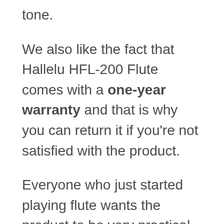tone.
We also like the fact that Hallelu HFL-200 Flute comes with a one-year warranty and that is why you can return it if you're not satisfied with the product.
Everyone who just started playing flute wants the product to be very practical and this flute manage to do that very successfully. The mange reason for that is that this flute comes with cleaning kit,